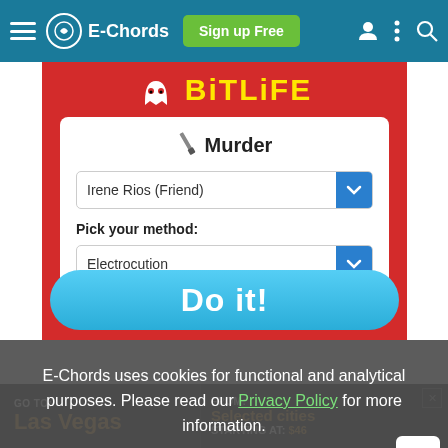E-Chords  Sign up Free
[Figure (screenshot): BitLife mobile game screenshot showing a 'Murder' dialog with 'Irene Rios (Friend)' selected and 'Pick your method: Electrocution' dropdown, with a 'Do it!' button]
E-Chords uses cookies for functional and analytical purposes. Please read our Privacy Policy for more information.
[Figure (screenshot): Advertisement banner: GO TO: Las Vegas | FROM: Selected cities STARTING AT: $46]